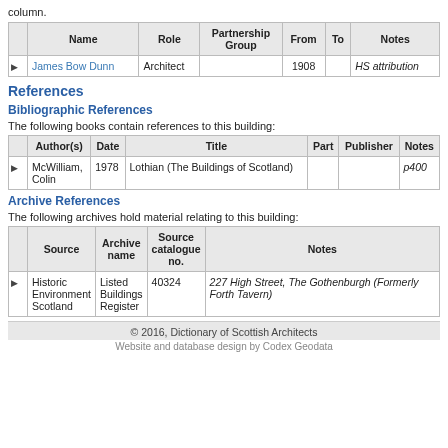column.
|  | Name | Role | Partnership Group | From | To | Notes |
| --- | --- | --- | --- | --- | --- | --- |
| ▶ | James Bow Dunn | Architect |  | 1908 |  | HS attribution |
References
Bibliographic References
The following books contain references to this building:
|  | Author(s) | Date | Title | Part | Publisher | Notes |
| --- | --- | --- | --- | --- | --- | --- |
| ▶ | McWilliam, Colin | 1978 | Lothian (The Buildings of Scotland) |  |  | p400 |
Archive References
The following archives hold material relating to this building:
|  | Source | Archive name | Source catalogue no. | Notes |
| --- | --- | --- | --- | --- |
| ▶ | Historic Environment Scotland | Listed Buildings Register | 40324 | 227 High Street, The Gothenburgh (Formerly Forth Tavern) |
© 2016, Dictionary of Scottish Architects
Website and database design by Codex Geodata